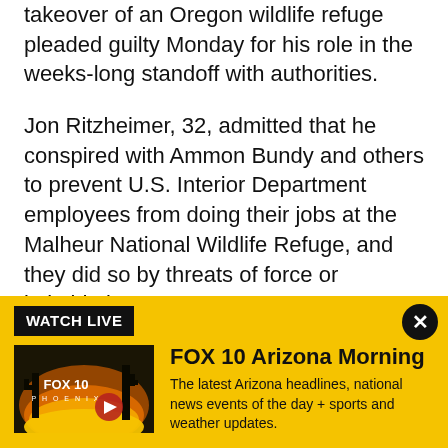takeover of an Oregon wildlife refuge pleaded guilty Monday for his role in the weeks-long standoff with authorities.
Jon Ritzheimer, 32, admitted that he conspired with Ammon Bundy and others to prevent U.S. Interior Department employees from doing their jobs at the Malheur National Wildlife Refuge, and they did so by threats of force or intimidation.
Prosecutors dropped two charges as part of a plea agreement -- theft of government property and possessing a firearm on federal property. Assistant U.S.
[Figure (screenshot): Fox 10 Arizona Morning live video banner with yellow background, showing a thumbnail of the Fox 10 Phoenix show with a play button, labeled 'WATCH LIVE'. Description: The latest Arizona headlines, national news events of the day + sports and weather updates.]